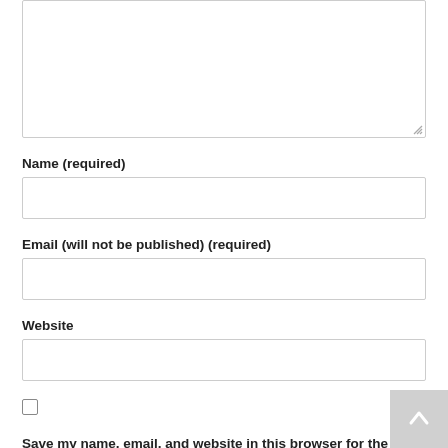[Figure (screenshot): Textarea input box (comment field) shown partially at top of page, with resize handle at bottom-right]
Name (required)
[Figure (screenshot): Text input box for Name field]
Email (will not be published) (required)
[Figure (screenshot): Text input box for Email field]
Website
[Figure (screenshot): Text input box for Website field]
Save my name, email, and website in this browser for the next time I comment.